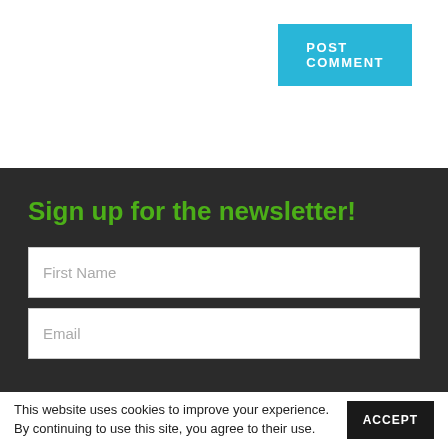[Figure (screenshot): POST COMMENT button — cyan/blue rectangular button with white bold text]
Sign up for the newsletter!
First Name
Email
This website uses cookies to improve your experience. By continuing to use this site, you agree to their use.
ACCEPT